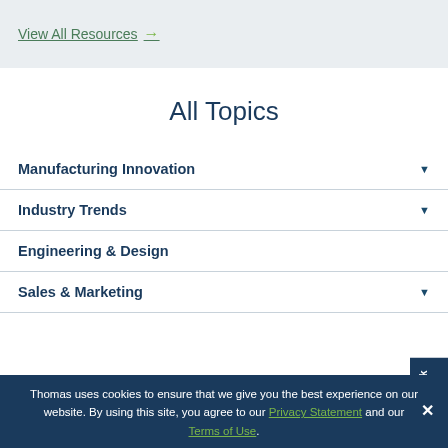View All Resources →
All Topics
Manufacturing Innovation
Industry Trends
Engineering & Design
Sales & Marketing
Thomas uses cookies to ensure that we give you the best experience on our website. By using this site, you agree to our Privacy Statement and our Terms of Use.